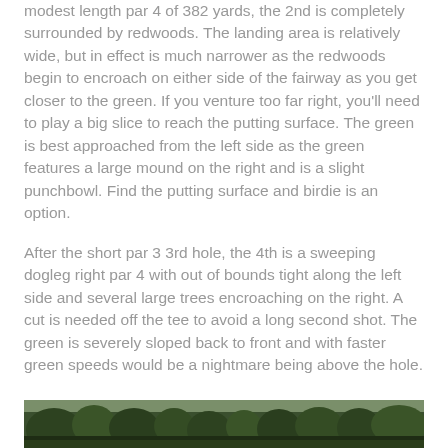modest length par 4 of 382 yards, the 2nd is completely surrounded by redwoods. The landing area is relatively wide, but in effect is much narrower as the redwoods begin to encroach on either side of the fairway as you get closer to the green. If you venture too far right, you'll need to play a big slice to reach the putting surface. The green is best approached from the left side as the green features a large mound on the right and is a slight punchbowl. Find the putting surface and birdie is an option.
After the short par 3 3rd hole, the 4th is a sweeping dogleg right par 4 with out of bounds tight along the left side and several large trees encroaching on the right. A cut is needed off the tee to avoid a long second shot. The green is severely sloped back to front and with faster green speeds would be a nightmare being above the hole.
[Figure (photo): Photograph showing a golf course fairway surrounded by large redwood/evergreen trees, view from tee or fairway looking toward green area.]